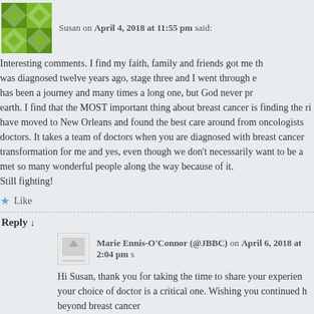Susan on April 4, 2018 at 11:55 pm said:
Interesting comments. I find my faith, family and friends got me th... was diagnosed twelve years ago, stage three and I went through e... has been a journey and many times a long one, but God never pr... earth. I find that the MOST important thing about breast cancer is finding the ri... have moved to New Orleans and found the best care around from oncologists... doctors. It takes a team of doctors when you are diagnosed with breast cancer... transformation for me and yes, even though we don't necessarily want to be a... met so many wonderful people along the way because of it. Still fighting!
Like
Reply ↓
Marie Ennis-O'Connor (@JBBC) on April 6, 2018 at 2:04 pm s...
Hi Susan, thank you for taking the time to share your experien... your choice of doctor is a critical one. Wishing you continued h... beyond breast cancer
Like
Reply ↓